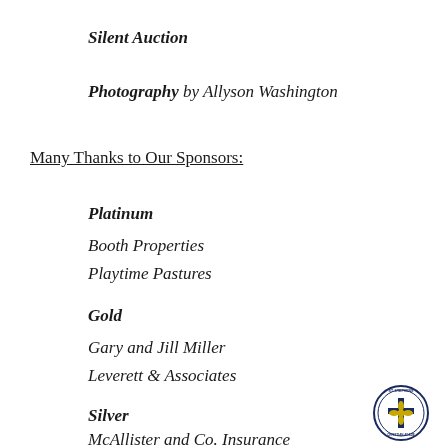Silent Auction
Photography by Allyson Washington
Many Thanks to Our Sponsors:
Platinum
Booth Properties
Playtime Pastures
Gold
Gary and Jill Miller
Leverett & Associates
Silver
McAllister and Co. Insurance
[Figure (logo): St. Stephens Classical Christian Academy circular logo with cross and floral emblem in navy blue and yellow]